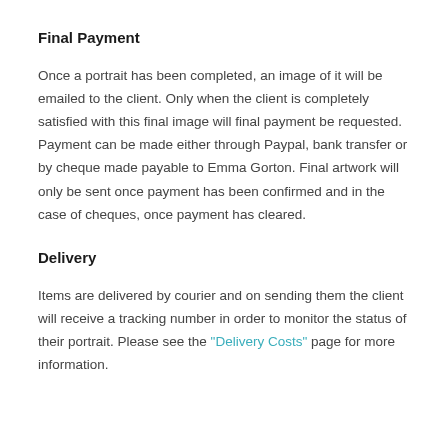Final Payment
Once a portrait has been completed, an image of it will be emailed to the client. Only when the client is completely satisfied with this final image will final payment be requested. Payment can be made either through Paypal, bank transfer or by cheque made payable to Emma Gorton. Final artwork will only be sent once payment has been confirmed and in the case of cheques, once payment has cleared.
Delivery
Items are delivered by courier and on sending them the client will receive a tracking number in order to monitor the status of their portrait. Please see the "Delivery Costs" page for more information.